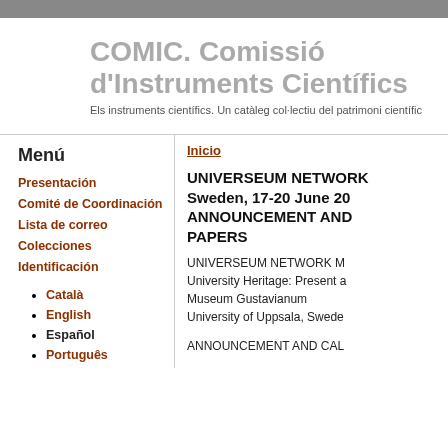COMIC. Comissió d'Instruments Científics
Els instruments científics. Un catàleg col·lectiu del patrimoni científic
Menú
Presentación
Comité de Coordinación
Lista de correo
Colecciones
Identificación
Català
English
Español
Português
Inicio
UNIVERSEUM NETWORK Sweden, 17-20 June 20 ANNOUNCEMENT AND PAPERS
UNIVERSEUM NETWORK M University Heritage: Present a Museum Gustavianum University of Uppsala, Swede
ANNOUNCEMENT AND CAL